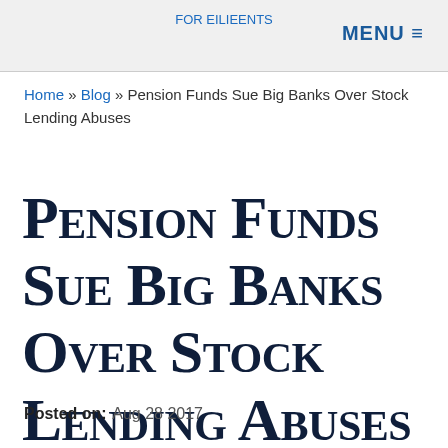MENU ≡
Home » Blog » Pension Funds Sue Big Banks Over Stock Lending Abuses
Pension Funds Sue Big Banks Over Stock Lending Abuses
Posted on: Aug 28 2017